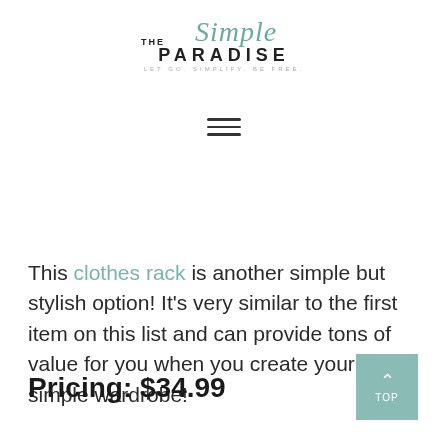[Figure (logo): The Simple Paradise logo with script 'Simple' in teal and 'PARADISE' in bold caps, tagline 'LET GO. SIMPLIFY. BE FREE.']
[Figure (other): Hamburger menu icon (three horizontal lines)]
This clothes rack is another simple but stylish option! It's very similar to the first item on this list and can provide tons of value for you when you create your simple wardrobe!
Pricing: $34.99